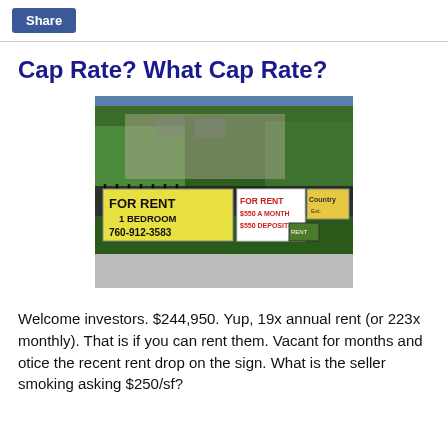Share
Cap Rate? What Cap Rate?
[Figure (photo): Outdoor photo of for rent signs on a fence in front of a building with trees. Signs read: FOR RENT 1 BEDROOM 760-912-3583 (yellow sign), FOR RENT $550 A MONTH $550 DEPOSIT (white/red sign), and a Country sign.]
Welcome investors. $244,950. Yup, 19x annual rent (or 223x monthly). That is if you can rent them. Vacant for months and otice the recent rent drop on the sign. What is the seller smoking asking $250/sf?